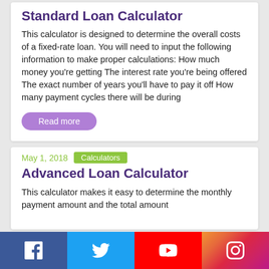Standard Loan Calculator
This calculator is designed to determine the overall costs of a fixed-rate loan. You will need to input the following information to make proper calculations: How much money you're getting The interest rate you're being offered The exact number of years you'll have to pay it off How many payment cycles there will be during
Read more
May 1, 2018   Calculators
Advanced Loan Calculator
This calculator makes it easy to determine the monthly payment amount and the total amount